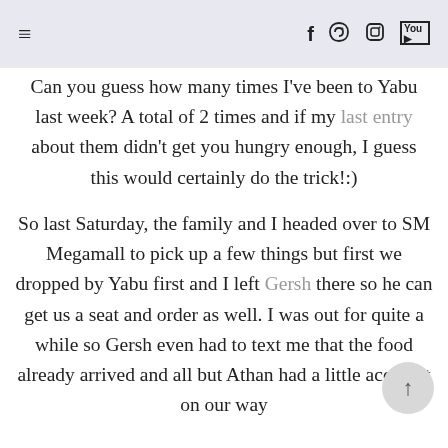≡  f  🐦  ○  ▶
Can you guess how many times I've been to Yabu last week? A total of 2 times and if my last entry about them didn't get you hungry enough, I guess this would certainly do the trick!:)
So last Saturday, the family and I headed over to SM Megamall to pick up a few things but first we dropped by Yabu first and I left Gersh there so he can get us a seat and order as well. I was out for quite a while so Gersh even had to text me that the food already arrived and all but Athan had a little accident on our way